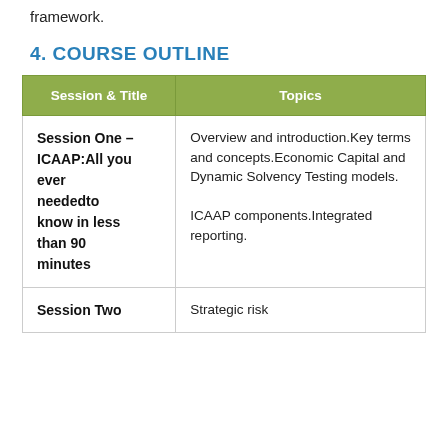framework.
4. COURSE OUTLINE
| Session & Title | Topics |
| --- | --- |
| Session One – ICAAP:All you ever neededto know in less than 90 minutes | Overview and introduction.Key terms and concepts.Economic Capital and Dynamic Solvency Testing models.

ICAAP components.Integrated reporting. |
| Session Two | Strategic risk |